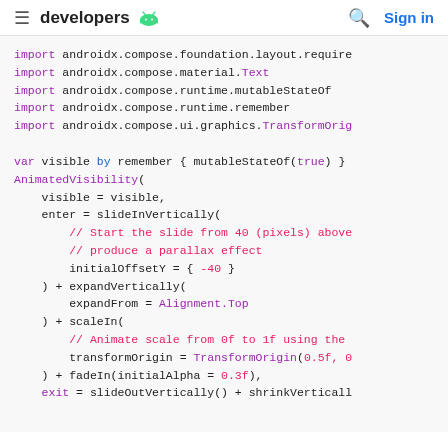developers [android logo] [search] Sign in
import androidx.compose.foundation.layout.require
import androidx.compose.material.Text
import androidx.compose.runtime.mutableStateOf
import androidx.compose.runtime.remember
import androidx.compose.ui.graphics.TransformOrig

var visible by remember { mutableStateOf(true) }
AnimatedVisibility(
    visible = visible,
    enter = slideInVertically(
        // Start the slide from 40 (pixels) above
        // produce a parallax effect
        initialOffsetY = { -40 }
    ) + expandVertically(
        expandFrom = Alignment.Top
    ) + scaleIn(
        // Animate scale from 0f to 1f using the
        transformOrigin = TransformOrigin(0.5f, 0
    ) + fadeIn(initialAlpha = 0.3f),
    exit = slideOutVertically() + shrinkVerticall